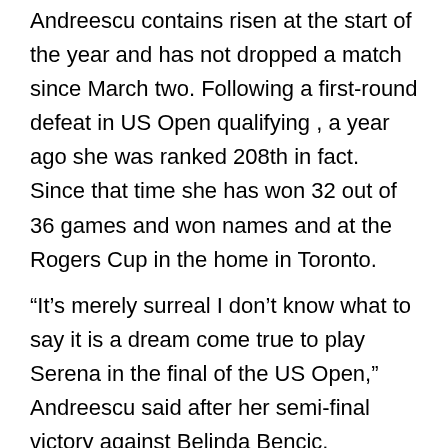Andreescu contains risen at the start of the year and has not dropped a match since March two. Following a first-round defeat in US Open qualifying , a year ago she was ranked 208th in fact. Since that time she has won 32 out of 36 games and won names and at the Rogers Cup in the home in Toronto.
“It’s merely surreal I don’t know what to say it is a dream come true to play Serena in the final of the US Open,” Andreescu said after her semi-final victory against Belinda Bencic.
The showpiece will see electricity take on electricity. Andreescu will have to fit Williams’ heavy hitting in the back of the court if she’s to stand a chance and has proved herself competent during her climb.